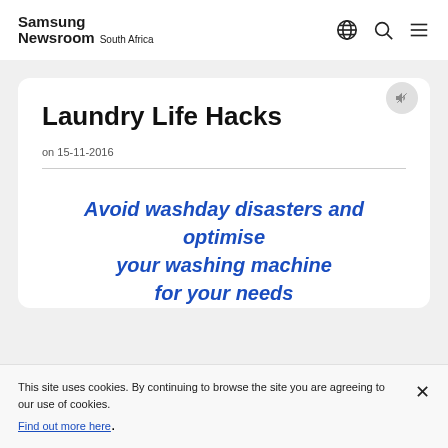Samsung Newsroom South Africa
Laundry Life Hacks
on 15-11-2016
Avoid washday disasters and optimise your washing machine for your needs
This site uses cookies. By continuing to browse the site you are agreeing to our use of cookies. Find out more here.